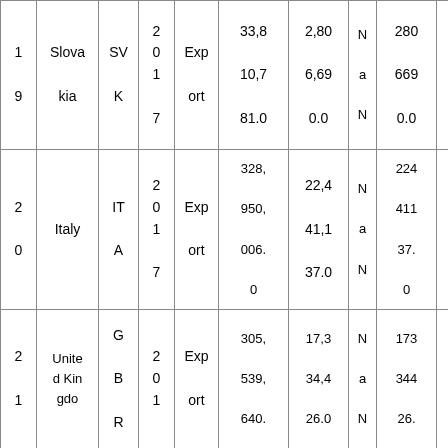| 1
9 | Slovakia | SVK | 2
0
1
7 | Export | 33,8
10,7
81.0 | 2,80
6,69
0.0 | N
a
N | 280
669
0.0 | 12.
05 |
| 2
0 | Italy | ITA | 2
0
1
7 | Export | 328,
950,
006.
0 | 22,4
41,1
37.0 | N
a
N | 224
411
37.
0 | 14.
66 |
| 2
1 | United Kingdom | GBR | 2
0
1 | Export | 305,
539,
640. | 17,3
34,4
26.0 | N
a
N | 173
344
26. | 17.
63 |